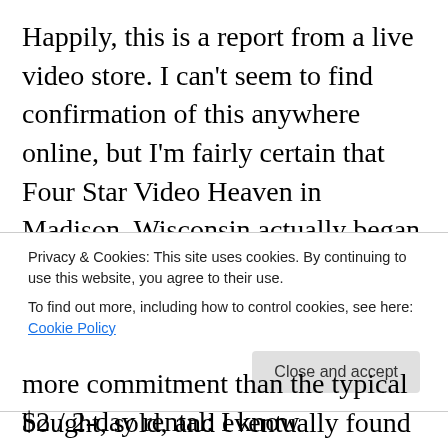Happily, this is a report from a live video store. I can't seem to find confirmation of this anywhere online, but I'm fairly certain that Four Star Video Heaven in Madison, Wisconsin actually began life as a used book store – I have several of their store bookmarks that came stuck in the binding of volumes that had been bought, sold, bought, sold, and eventually found their way to me – before becoming a video store. When I first visited the place as a freshman in 1994 I was overjoyed to find all the titles that I'd been reading about for years but hadn't had easy access to: canonical European and Japanese art
Privacy & Cookies: This site uses cookies. By continuing to use this website, you agree to their use.
To find out more, including how to control cookies, see here: Cookie Policy
more commitment than the typical $2 / 2-day rental: I know